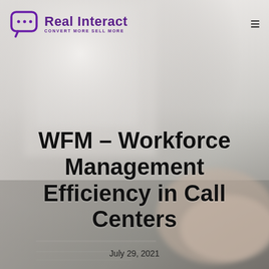[Figure (photo): Blurred background photo of a person's hands typing on a laptop keyboard on a desk, with window light in background]
Real Interact CONVERT MORE SELL MORE
WFM – Workforce Management Efficiency in Call Centers
July 29, 2021